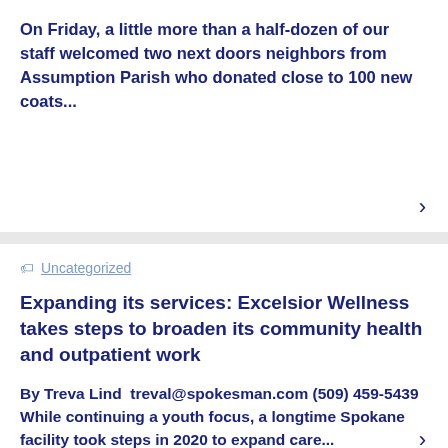On Friday, a little more than a half-dozen of our staff welcomed two next doors neighbors from Assumption Parish who donated close to 100 new coats...
Uncategorized
Expanding its services: Excelsior Wellness takes steps to broaden its community health and outpatient work
By Treva Lind  treval@spokesman.com (509) 459-5439 While continuing a youth focus, a longtime Spokane facility took steps in 2020 to expand care...